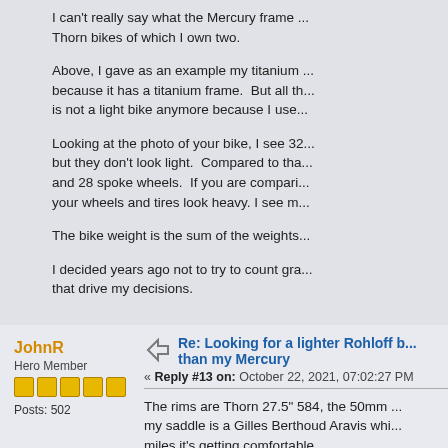I can't really say what the Mercury frame... Thorn bikes of which I own two.
Above, I gave as an example my titanium... because it has a titanium frame.  But all t... is not a light bike anymore because I use...
Looking at the photo of your bike, I see 3... but they don't look light.  Compared to th... and 28 spoke wheels.  If you are compari... your wheels and tires look heavy. I see m...
The bike weight is the sum of the weights...
I decided years ago not to try to count gra... that drive my decisions.
JohnR
Hero Member
Posts: 502
Re: Looking for a lighter Rohloff b... than my Mercury
« Reply #13 on: October 22, 2021, 07:02:27 PM
The rims are Thorn 27.5" 584, the 50mm... my saddle is a Gilles Berthoud Aravis whi... miles it's getting comfortable.